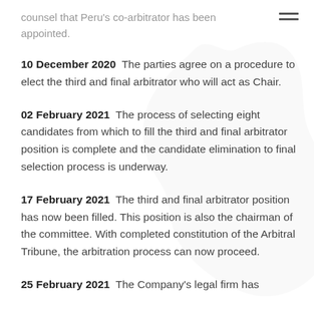counsel that Peru's co-arbitrator has been appointed.
10 December 2020  The parties agree on a procedure to elect the third and final arbitrator who will act as Chair.
02 February 2021  The process of selecting eight candidates from which to fill the third and final arbitrator position is complete and the candidate elimination to final selection process is underway.
17 February 2021  The third and final arbitrator position has now been filled. This position is also the chairman of the committee. With completed constitution of the Arbitral Tribune, the arbitration process can now proceed.
25 February 2021  The Company's legal firm has